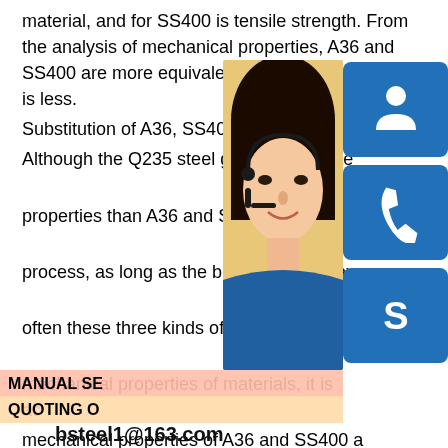material, and for SS400 is tensile strength. From the analysis of mechanical properties, A36 and SS400 are more equivalent, while Q235 material is less.
Substitution of A36, SS400 and Q235 steel: Although the Q235 steel grade steel plate properties than A36 and SS400 material, but in the procurement process, as long as the buyers do not have special requirements, often these three kinds of materials can be substituted. From mechanical properties of materials, it is acceptable. The mechanical properties of A36 and SS400 are close to China's high quality carbon structural steel 20#. Tensile strength of 20# steel is not less than 410; yield strength is 245; so the mechanical properties of SS400 and A36 are about the same.
Different standard formulation parties:
A36 for American Standard ASME standard (ASTM specification equivalent) materials, SS400, Standard JIS G3101 (common structure with rolling steel) materials, Q235 GB700 standards GB material, GB700:Q235 G3101:SS400 JIS ASME:A36